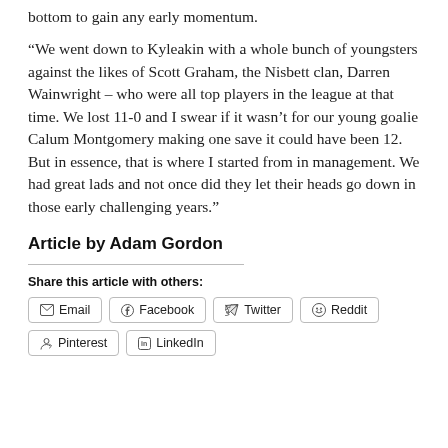bottom to gain any early momentum.
“We went down to Kyleakin with a whole bunch of youngsters against the likes of Scott Graham, the Nisbett clan, Darren Wainwright – who were all top players in the league at that time. We lost 11-0 and I swear if it wasn’t for our young goalie Calum Montgomery making one save it could have been 12. But in essence, that is where I started from in management. We had great lads and not once did they let their heads go down in those early challenging years.”
Article by Adam Gordon
Share this article with others:
Email  Facebook  Twitter  Reddit  Pinterest  LinkedIn